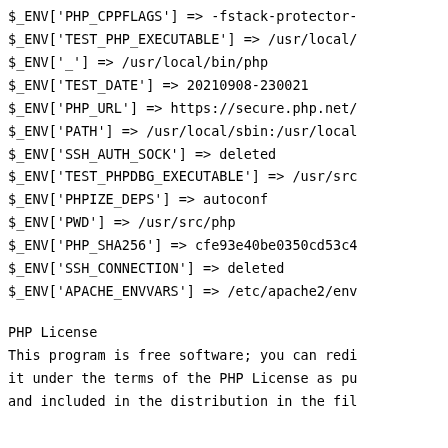$_ENV['PHP_CPPFLAGS'] => -fstack-protector-
$_ENV['TEST_PHP_EXECUTABLE'] => /usr/local/
$_ENV['_'] => /usr/local/bin/php
$_ENV['TEST_DATE'] => 20210908-230021
$_ENV['PHP_URL'] => https://secure.php.net/
$_ENV['PATH'] => /usr/local/sbin:/usr/local
$_ENV['SSH_AUTH_SOCK'] => deleted
$_ENV['TEST_PHPDBG_EXECUTABLE'] => /usr/src
$_ENV['PHPIZE_DEPS'] => autoconf
$_ENV['PWD'] => /usr/src/php
$_ENV['PHP_SHA256'] => cfe93e40be0350cd53c4
$_ENV['SSH_CONNECTION'] => deleted
$_ENV['APACHE_ENVVARS'] => /etc/apache2/env
PHP License
This program is free software; you can redi it under the terms of the PHP License as pu and included in the distribution in the fil